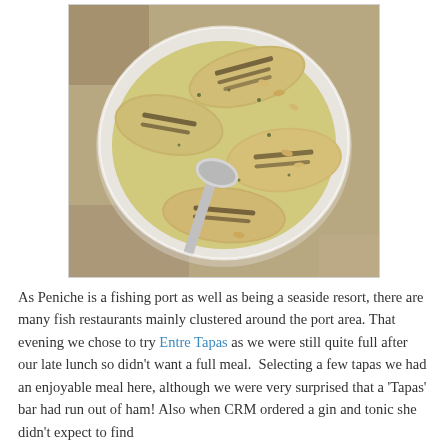[Figure (photo): Overhead view of a round white ceramic dish containing pieces of grilled/roasted fish with herbs and pine nuts, with a metal spoon resting in the dish. The dish sits on a wooden table.]
As Peniche is a fishing port as well as being a seaside resort, there are many fish restaurants mainly clustered around the port area. That evening we chose to try Entre Tapas as we were still quite full after our late lunch so didn't want a full meal.  Selecting a few tapas we had an enjoyable meal here, although we were very surprised that a 'Tapas' bar had run out of ham! Also when CRM ordered a gin and tonic she didn't expect to find